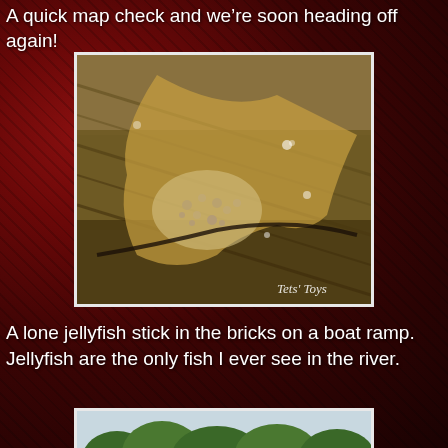A quick map check and we’re soon heading off again!
[Figure (photo): Close-up photo of a lone jellyfish stuck in bricks on a boat ramp, showing textured surface with water. Watermark reads 'Tets' Toys'.]
A lone jellyfish stick in the bricks on a boat ramp.  Jellyfish are the only fish I ever see in the river.
[Figure (photo): Partial photo showing a river with trees in the background, viewed from water level.]